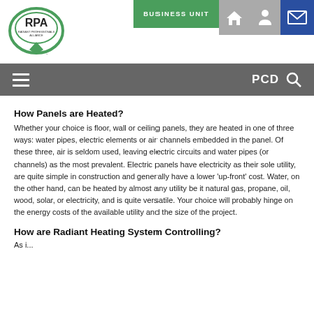[Figure (logo): RPA (Radiant Professionals Alliance) logo - green oval with diamond]
[Figure (screenshot): Website header with BUSINESS UNIT green button, home icon, and mail icon]
[Figure (screenshot): Navigation bar with hamburger menu and PCD search label]
How Panels are Heated?
Whether your choice is floor, wall or ceiling panels, they are heated in one of three ways: water pipes, electric elements or air channels embedded in the panel. Of these three, air is seldom used, leaving electric circuits and water pipes (or channels) as the most prevalent. Electric panels have electricity as their sole utility, are quite simple in construction and generally have a lower 'up-front' cost. Water, on the other hand, can be heated by almost any utility be it natural gas, propane, oil, wood, solar, or electricity, and is quite versatile. Your choice will probably hinge on the energy costs of the available utility and the size of the project.
How are Radiant Heating System Controlling?
As i...